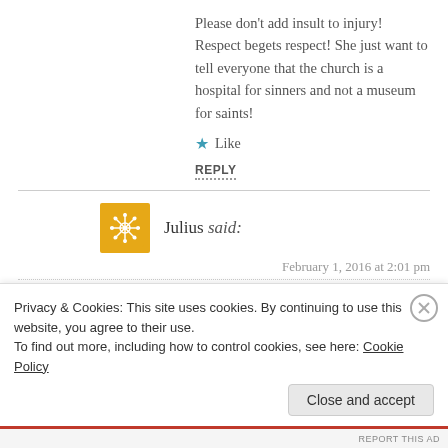Please don't add insult to injury! Respect begets respect! She just want to tell everyone that the church is a hospital for sinners and not a museum for saints!
Like
REPLY
Julius said:
February 1, 2016 at 2:01 pm
Baket sobrang affected ka Rima? Siguro dun ka nagwowork sa Parish na yun? Ipaparating ko to kay Archbishop Soc
Privacy & Cookies: This site uses cookies. By continuing to use this website, you agree to their use.
To find out more, including how to control cookies, see here: Cookie Policy
Close and accept